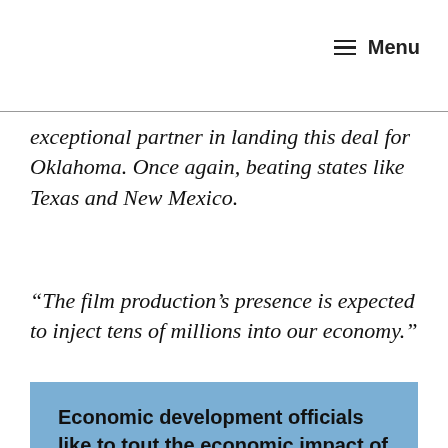Menu
exceptional partner in landing this deal for Oklahoma. Once again, beating states like Texas and New Mexico.
“The film production’s presence is expected to inject tens of millions into our economy.”
Economic development officials like to tout the economic impact of film and television production, but most of those jobs are temporary. The state’s Incentive Evaluation Commission